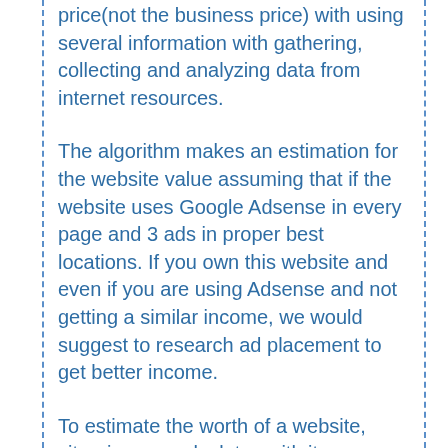price(not the business price) with using several information with gathering, collecting and analyzing data from internet resources.
The algorithm makes an estimation for the website value assuming that if the website uses Google Adsense in every page and 3 ads in proper best locations. If you own this website and even if you are using Adsense and not getting a similar income, we would suggest to research ad placement to get better income.
To estimate the worth of a website, siteprice.org calculates with its own unique algorithm. If you want to sell your website or buy a website you'll probably need to know that "what is the estimated value of the site" and appraise it.
And maybe your website or a website worths thousands. Maybe you don't even think about to